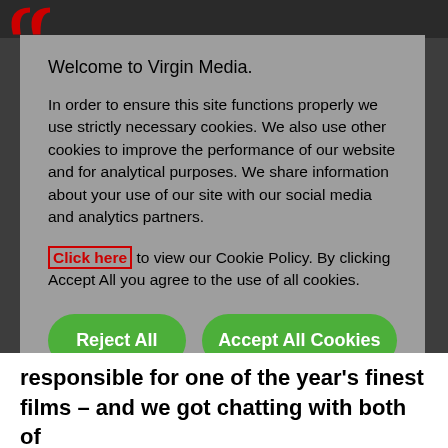[Figure (screenshot): Top navigation bar with Virgin Media logo arcs (red semicircles) visible in top left corner, dark background]
Welcome to Virgin Media.
In order to ensure this site functions properly we use strictly necessary cookies. We also use other cookies to improve the performance of our website and for analytical purposes. We share information about your use of our site with our social media and analytics partners.
Click here to view our Cookie Policy. By clicking Accept All you agree to the use of all cookies.
Reject All
Accept All Cookies
Manage Cookies
responsible for one of the year's finest films – and we got chatting with both of